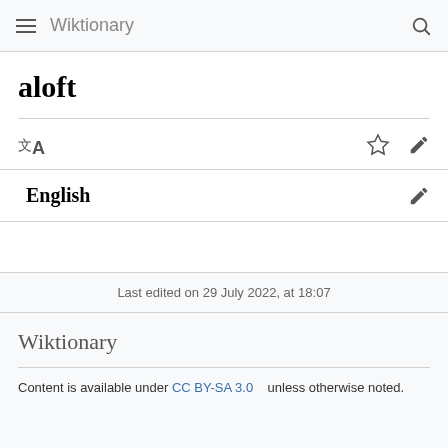Wiktionary
aloft
English
Last edited on 29 July 2022, at 18:07
Wiktionary
Content is available under CC BY-SA 3.0 unless otherwise noted.